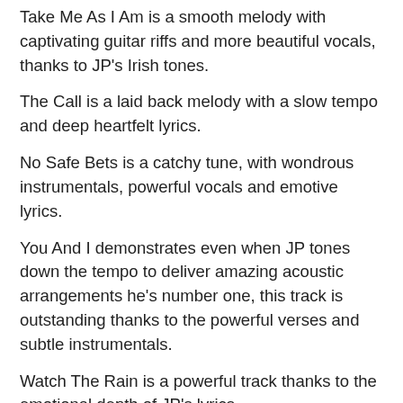Take Me As I Am is a smooth melody with captivating guitar riffs and more beautiful vocals, thanks to JP's Irish tones.
The Call is a laid back melody with a slow tempo and deep heartfelt lyrics.
No Safe Bets is a catchy tune, with wondrous instrumentals, powerful vocals and emotive lyrics.
You And I demonstrates even when JP tones down the tempo to deliver amazing acoustic arrangements he's number one, this track is outstanding thanks to the powerful verses and subtle instrumentals.
Watch The Rain is a powerful track thanks to the emotional depth of JP's lyrics.
Drowning Man is another gentle melody with a slow beat and a exquisite arrangement of guitar chords.
Eight showcases captivating chords and catchy lyrics. JP